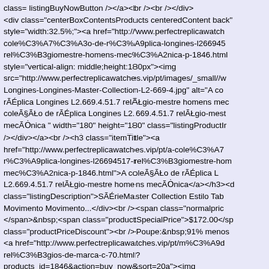class= listingBuyNowButton /></a><br /><br /></div>
<div class="centerBoxContentsProducts centeredContent back" style="width:32.5%;"><a href="http://www.perfectreplicawatches.vip/pt/a-cole%C3%A7%C3%A3o-de-r%C3%A9plica-longines-l26694517-rel%C3%B3giomestre-homens-mec%C3%A2nica-p-1846.html" style="vertical-align: middle;height:180px"><img src="http://www.perfectreplicawatches.vip/pt/images/_small//wLongines-Longines-Master-Collection-L2-669-4.jpg" alt="A co rÃ©plica Longines L2.669.4.51.7 relÃłgio-mestre homens mec coleÃ§ÃŁo de rÃ©plica Longines L2.669.4.51.7 relÃłgio-mest mecÃ¯nica " width="180" height="180" class="listingProductIr /></div></a><br /><h3 class="itemTitle"><a href="http://www.perfectreplicawatches.vip/pt/a-cole%C3%A7r%C3%A9plica-longines-l26694517-rel%C3%B3giomestre-hommec%C3%A2nica-p-1846.html">A coleÃ§ÃŁo de rÃ©plica Lo L2.669.4.51.7 relÃłgio-mestre homens mecÃ¯nica</a></h3><d class="listingDescription">SÃ©rieMaster Collection Estilo Tab Movimento Movimento...</div><br /><span class="normalpric </span>&nbsp;<span class="productSpecialPrice">$172.00</sp class="productPriceDiscount"><br />Poupe:&nbsp;91% menos <a href="http://www.perfectreplicawatches.vip/pt/m%C3%A9d rel%C3%B3gios-de-marca-c-70.html?products_id=1846&action=buy_now&sort=20a"><img src="http://www.perfectreplicawatches.vip/pt/includes/template alt="Comprar agora" title=" Comprar agora " width="111" heig class="listingBuyNowButton" /></a></div></div></div></di